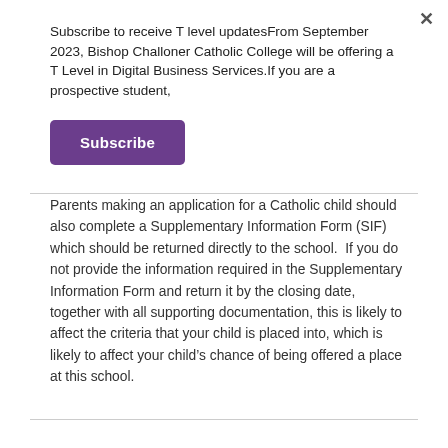Subscribe to receive T level updatesFrom September 2023, Bishop Challoner Catholic College will be offering a T Level in Digital Business Services.If you are a prospective student,
Subscribe
Parents making an application for a Catholic child should also complete a Supplementary Information Form (SIF) which should be returned directly to the school.  If you do not provide the information required in the Supplementary Information Form and return it by the closing date, together with all supporting documentation, this is likely to affect the criteria that your child is placed into, which is likely to affect your child’s chance of being offered a place at this school.